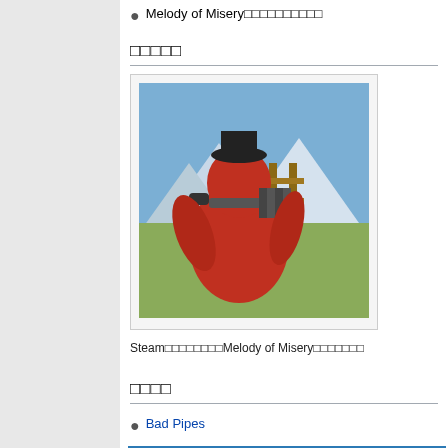Melody of Misery□□□□□□□□□□
□□□□□
[Figure (photo): Screenshot of a TF2 Pyro character holding bagpipes, outdoors scene with mountains and trees in background]
Steam□□□□□□□□Melody of Misery□□□□□□□
□□□□
Bad Pipes
| v・d・e | □□□□□ 2017 |
| --- | --- |
| □□ | □□□□□□□□ |
|  | Brass Bucket・🔥Burning Beam・Blocker・Hungover Hero・Melody |